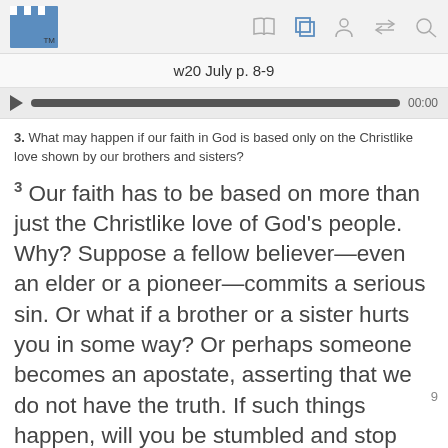w20 July p. 8-9
3. What may happen if our faith in God is based only on the Christlike love shown by our brothers and sisters?
3 Our faith has to be based on more than just the Christlike love of God’s people. Why? Suppose a fellow believer—even an elder or a pioneer—commits a serious sin. Or what if a brother or a sister hurts you in some way? Or perhaps someone becomes an apostate, asserting that we do not have the truth. If such things happen, will you be stumbled and stop serving Jehovah? The lesson is this: If you were to build your faith in God purely on the way that other people act instead of on your relationship with Jehovah himself, your faith would not be solid. In your house of